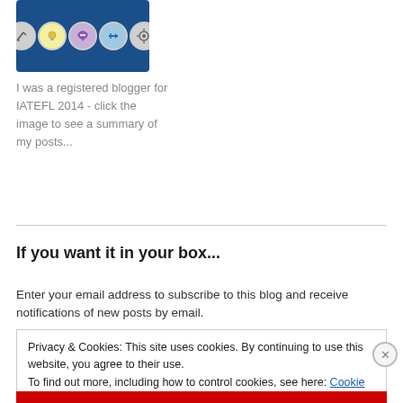[Figure (illustration): Blue rectangle with five icon circles showing tools/symbols for blogging (wrench, lightbulb, chat bubble, arrow, gear)]
I was a registered blogger for IATEFL 2014 - click the image to see a summary of my posts...
If you want it in your box...
Enter your email address to subscribe to this blog and receive notifications of new posts by email.
Privacy & Cookies: This site uses cookies. By continuing to use this website, you agree to their use.
To find out more, including how to control cookies, see here: Cookie Policy